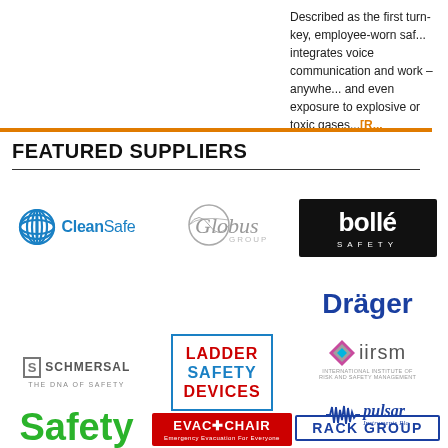Described as the first turn-key, employee-worn saf... integrates voice communication and work –anywhe... and even exposure to explosive or toxic gases...[R...]
FEATURED SUPPLIERS
[Figure (logo): CleanSafe logo]
[Figure (logo): Globus Group logo]
[Figure (logo): Bollé Safety logo]
[Figure (logo): Dräger logo]
[Figure (logo): Schmersal - The DNA of Safety logo]
[Figure (logo): Ladder Safety Devices logo]
[Figure (logo): iirsm - International Institute of Risk and Safety Management logo]
[Figure (logo): Pulsar Instruments Plc logo]
[Figure (logo): Safety (partial) logo]
[Figure (logo): Evac+Chair - Emergency Evacuation For Everyone logo]
[Figure (logo): Rack Group logo]